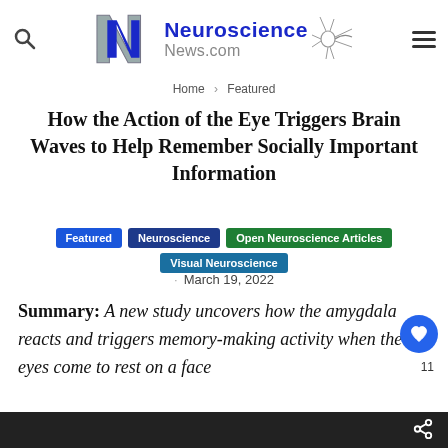[Figure (logo): Neuroscience News.com logo with NN monogram and neuron graphic]
Home > Featured
How the Action of the Eye Triggers Brain Waves to Help Remember Socially Important Information
Featured
Neuroscience
Open Neuroscience Articles
Visual Neuroscience
· March 19, 2022
Summary: A new study uncovers how the amygdala reacts and triggers memory-making activity when the eyes come to rest on a face